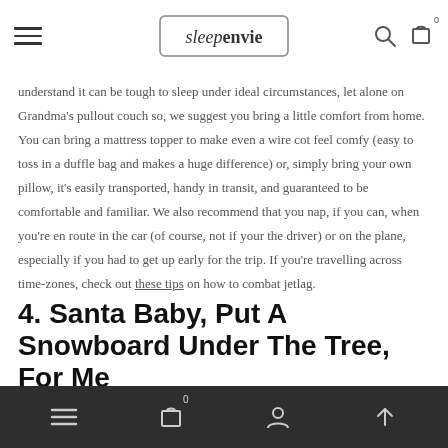sleepenvie — navigation header with logo, menu, search, and cart
understand it can be tough to sleep under ideal circumstances, let alone on Grandma's pullout couch so, we suggest you bring a little comfort from home. You can bring a mattress topper to make even a wire cot feel comfy (easy to toss in a duffle bag and makes a huge difference) or, simply bring your own pillow, it's easily transported, handy in transit, and guaranteed to be comfortable and familiar. We also recommend that you nap, if you can, when you're en route in the car (of course, not if your the driver) or on the plane, especially if you had to get up early for the trip. If you're travelling across time-zones, check out these tips on how to combat jetlag.
4. Santa Baby, Put A Snowboard Under The Tree, For Me
Mobile navigation bar with menu, cart (0), account, and scroll-to-top icons